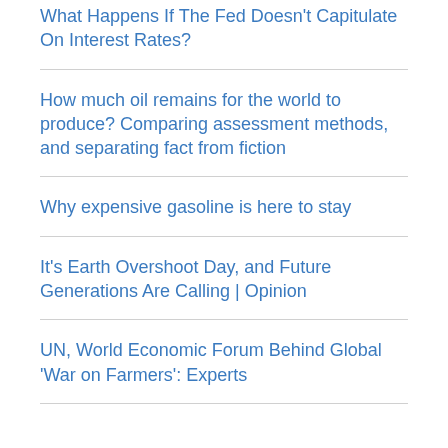What Happens If The Fed Doesn't Capitulate On Interest Rates?
How much oil remains for the world to produce? Comparing assessment methods, and separating fact from fiction
Why expensive gasoline is here to stay
It's Earth Overshoot Day, and Future Generations Are Calling | Opinion
UN, World Economic Forum Behind Global 'War on Farmers': Experts